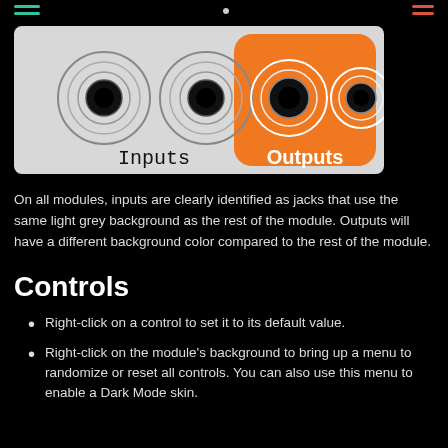[Figure (illustration): Module jack illustration showing two input jacks on a light grey background labeled 'Inputs', and two output jacks on an orange rounded rectangle background labeled 'Outputs']
On all modules, inputs are clearly identified as jacks that use the same light grey background as the rest of the module. Outputs will have a different background color compared to the rest of the module.
Controls
Right-click on a control to set it to its default value.
Right-click on the module's background to bring up a menu to randomize or reset all controls. You can also use this menu to enable a Dark Mode skin.